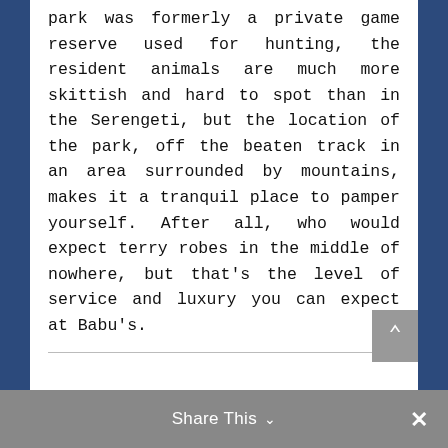park was formerly a private game reserve used for hunting, the resident animals are much more skittish and hard to spot than in the Serengeti, but the location of the park, off the beaten track in an area surrounded by mountains, makes it a tranquil place to pamper yourself. After all, who would expect terry robes in the middle of nowhere, but that's the level of service and luxury you can expect at Babu's.
Share This ∨  ✕